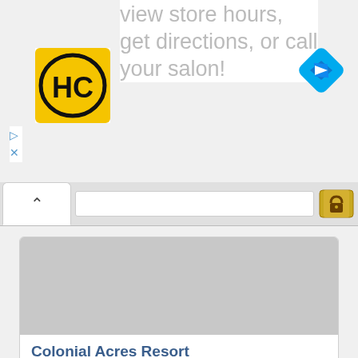View store hours, get directions, or call your salon!
[Figure (logo): HC logo — yellow square with black HC letters in bold]
[Figure (other): Blue diamond navigation/directions icon with white right-turn arrow]
▷
✕
[Figure (screenshot): Browser address bar with caret/up button and SSL icon]
[Figure (photo): Gray placeholder image for Colonial Acres Resort]
Colonial Acres Resort
West Yarmouth, MA | A416 CNI
7 Reviews
Resales From $2,000.00
Avg Maint Fee $635.15/yr
8.50/10